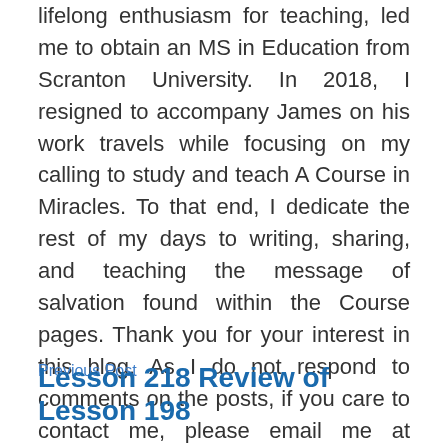lifelong enthusiasm for teaching, led me to obtain an MS in Education from Scranton University. In 2018, I resigned to accompany James on his work travels while focusing on my calling to study and teach A Course in Miracles. To that end, I dedicate the rest of my days to writing, sharing, and teaching the message of salvation found within the Course pages. Thank you for your interest in this blog. As I do not respond to comments on the posts, if you care to contact me, please email me at eckief@yahoo.com. View more posts
Previous Post
Lesson 218 Review of Lesson 198